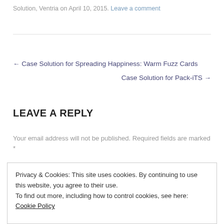Solution, Ventria on April 10, 2015. Leave a comment
← Case Solution for Spreading Happiness: Warm Fuzz Cards
Case Solution for Pack-iTS →
LEAVE A REPLY
Your email address will not be published. Required fields are marked *
Privacy & Cookies: This site uses cookies. By continuing to use this website, you agree to their use.
To find out more, including how to control cookies, see here: Cookie Policy
Close and accept